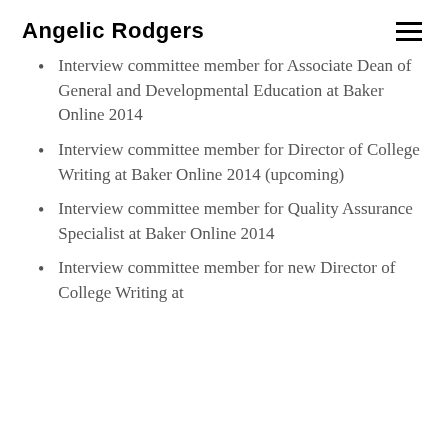Angelic Rodgers
Interview committee member for Associate Dean of General and Developmental Education at Baker Online 2014
Interview committee member for Director of College Writing at Baker Online 2014 (upcoming)
Interview committee member for Quality Assurance Specialist at Baker Online 2014
Interview committee member for new Director of College Writing at